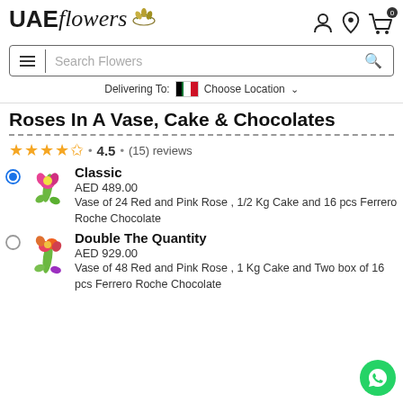UAE Flowers
Search Flowers
Delivering To: Choose Location
Roses In A Vase, Cake & Chocolates
4.5 • (15) reviews
Classic
AED 489.00
Vase of 24 Red and Pink Rose , 1/2 Kg Cake and 16 pcs Ferrero Roche Chocolate
Double The Quantity
AED 929.00
Vase of 48 Red and Pink Rose , 1 Kg Cake and Two box of 16 pcs Ferrero Roche Chocolate